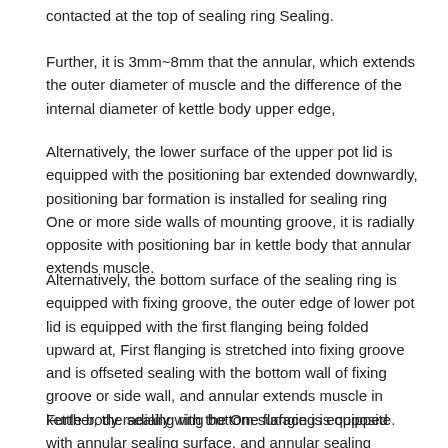contacted at the top of sealing ring Sealing.
Further, it is 3mm~8mm that the annular, which extends the outer diameter of muscle and the difference of the internal diameter of kettle body upper edge,
Alternatively, the lower surface of the upper pot lid is equipped with the positioning bar extended downwardly, positioning bar formation is installed for sealing ring One or more side walls of mounting groove, it is radially opposite with positioning bar in kettle body that annular extends muscle.
Alternatively, the bottom surface of the sealing ring is equipped with fixing groove, the outer edge of lower pot lid is equipped with the first flanging being folded upward at, First flanging is stretched into fixing groove and is offseted sealing with the bottom wall of fixing groove or side wall, and annular extends muscle in kettle body radially with the One flanging is opposite.
Further, the sealing ring bottom surface is equipped with annular sealing surface, and annular sealing surface and lower pot lid offset sealing